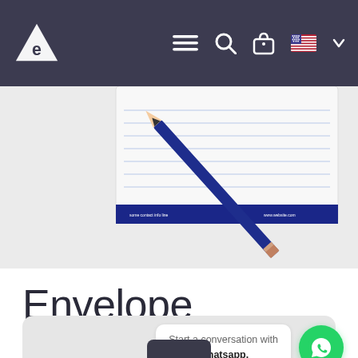Navigation bar with logo and icons
[Figure (photo): A lined notepad/letterhead with a dark blue pencil resting diagonally across it, on a light grey background. The notepad has horizontal lines and a dark blue footer strip with small text.]
Envelope
Start a conversation with Whatsapp.
[Figure (illustration): Partially visible dark card/product at the bottom of the page, cut off.]